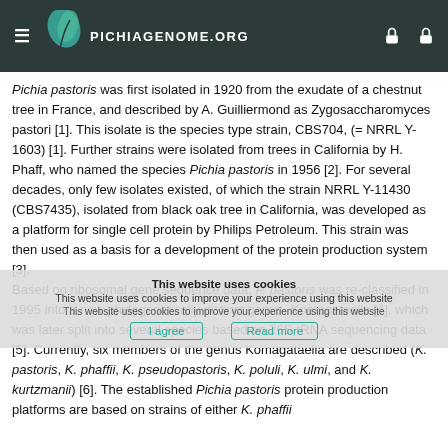PICHIAGENOME.ORG
Pichia pastoris was first isolated in 1920 from the exudate of a chestnut tree in France, and described by A. Guilliermond as Zygosaccharomyces pastori [1]. This isolate is the species type strain, CBS704, (= NRRL Y-1603) [1]. Further strains were isolated from trees in California by H. Phaff, who named the species Pichia pastoris in 1956 [2]. For several decades, only few isolates existed, of which the strain NRRL Y-11430 (CBS7435), isolated from black oak tree in California, was developed as a platform for single cell protein by Philips Petroleum. This strain was then used as a basis for a development of the protein production system [3]. Based on ribosomal gene sequence data, P. pastoris was re-classified in 1995 into a new phylogenetically distinct genus, Komagataella [4], which was later split into several species based on 26S rRNA sequencing data [5]. Currently, six members of the genus Komagataella are described (K. pastoris, K. phaffii, K. pseudopastoris, K. poluli, K. ulmi, and K. kurtzmanii) [6]. The established Pichia pastoris protein production platforms are based on strains of either K. phaffii